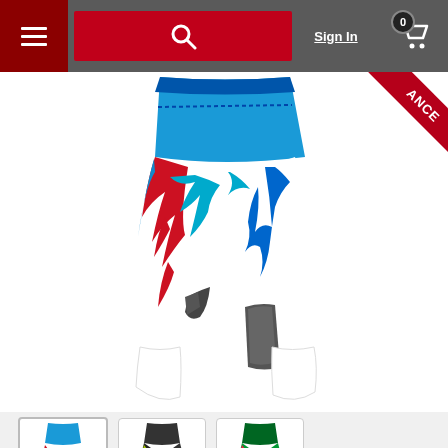Sign In  0
[Figure (photo): Fly Racing motocross pants in blue, red, and white with wild graphic pattern. Product shown from waist down against white background. Clearance ribbon in upper right corner with text 'ANCE' visible.]
[Figure (photo): Three product thumbnail images showing different colorways of the Fly Racing Kinetic Relapse MX Offroad Pants]
Fly Racing Mens Kinetic Relapse MX Offroad Pants
FLY RACING - RIDING PANTS
Lowest Price: